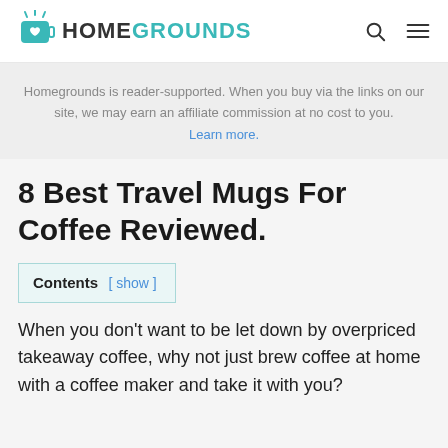HOMEGROUNDS
Homegrounds is reader-supported. When you buy via the links on our site, we may earn an affiliate commission at no cost to you. Learn more.
8 Best Travel Mugs For Coffee Reviewed.
Contents [ show ]
When you don’t want to be let down by overpriced takeaway coffee, why not just brew coffee at home with a coffee maker and take it with you?